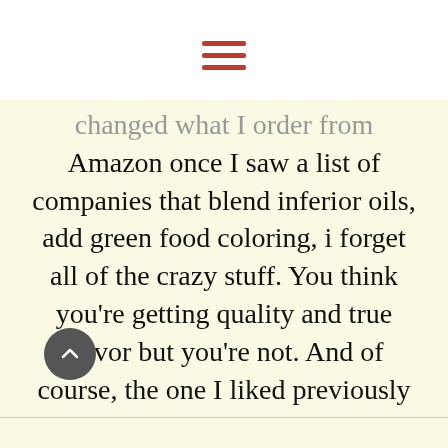[Figure (other): Hamburger menu icon with three red horizontal lines]
changed what I order from Amazon once I saw a list of companies that blend inferior oils, add green food coloring, i forget all of the crazy stuff. You think you’re getting quality and true flavor but you’re not. And of course, the one I liked previously was on that list.